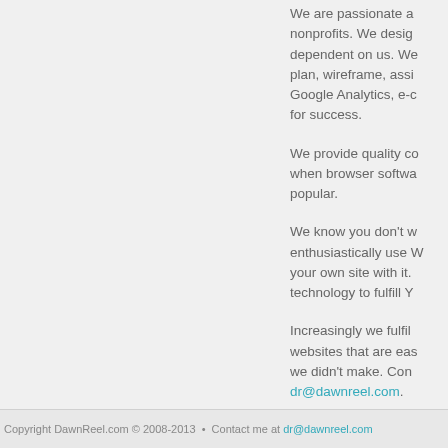We are passionate a... nonprofits. We desig... dependent on us. We... plan, wireframe, assi... Google Analytics, e-c... for success.
We provide quality c... when browser softwa... popular.
We know you don't w... enthusiastically use W... your own site with it.... technology to fulfill Y...
Increasingly we fulfil... websites that are eas... we didn't make. Con... dr@dawnreel.com.
Copyright DawnReel.com © 2008-2013  •  Contact me at dr@dawnreel.com